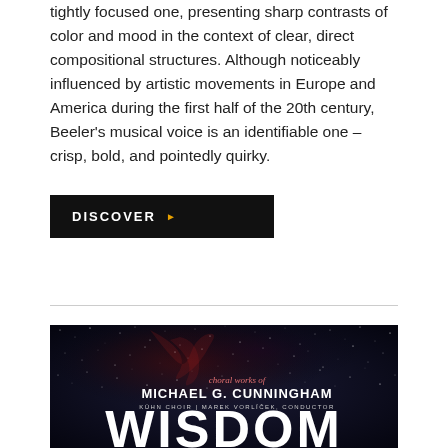tightly focused one, presenting sharp contrasts of color and mood in the context of clear, direct compositional structures. Although noticeably influenced by artistic movements in Europe and America during the first half of the 20th century, Beeler's musical voice is an identifiable one – crisp, bold, and pointedly quirky.
DISCOVER ▶
[Figure (photo): Album cover for 'Wisdom' – choral works of Michael G. Cunningham, performed by Kühn Choir with Marek Vorlíček as conductor. Dark starfield/nebula background with the word WISDOM in large white block letters at the bottom.]